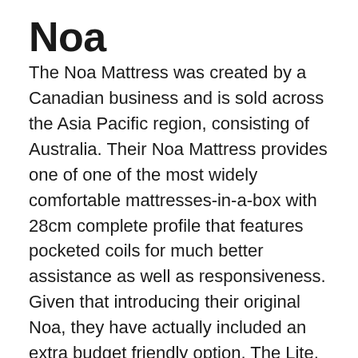Noa
The Noa Mattress was created by a Canadian business and is sold across the Asia Pacific region, consisting of Australia. Their Noa Mattress provides one of one of the most widely comfortable mattresses-in-a-box with 28cm complete profile that features pocketed coils for much better assistance as well as responsiveness. Given that introducing their original Noa, they have actually included an extra budget friendly option, The Lite, along with a green costs mattress, The Luxe, which adds micro-coils for even more posture-relieving support. To top it off, Noa provides the rewards of other top mattress-in-a-box brands like totally free shipping and also a charitable test policy.